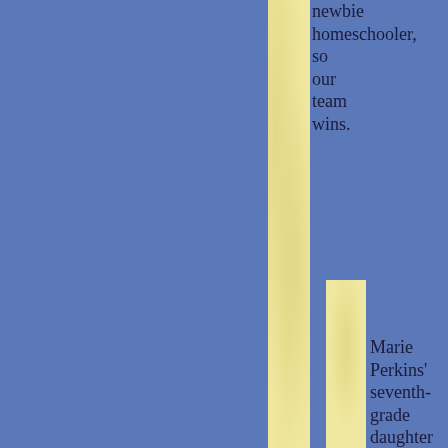newbie homeschooler, so our team wins.
Marie Perkins' seventh-grade daughter had no history of school disciplinary problems.
Generally an A and B